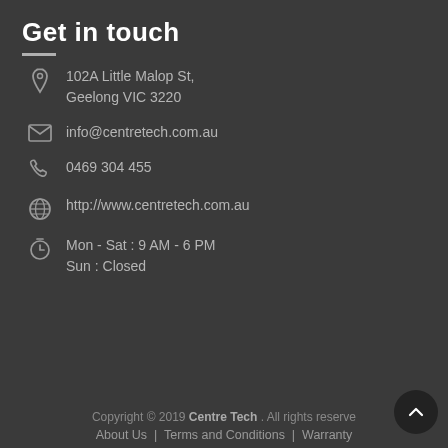Get in touch
102A Little Malop St, Geelong VIC 3220
info@centretech.com.au
0469 304 455
http://www.centretech.com.au
Mon - Sat : 9 AM - 6 PM
Sun : Closed
Copyright © 2019 Centre Tech . All rights reserved
About Us  |  Terms and Conditions  |  Warranty